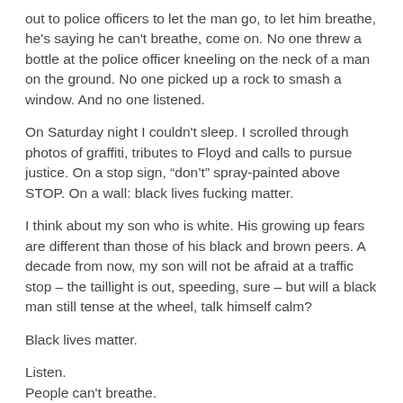out to police officers to let the man go, to let him breathe, he's saying he can't breathe, come on. No one threw a bottle at the police officer kneeling on the neck of a man on the ground. No one picked up a rock to smash a window. And no one listened.
On Saturday night I couldn't sleep. I scrolled through photos of graffiti, tributes to Floyd and calls to pursue justice. On a stop sign, “don't” spray-painted above STOP. On a wall: black lives fucking matter.
I think about my son who is white. His growing up fears are different than those of his black and brown peers. A decade from now, my son will not be afraid at a traffic stop – the taillight is out, speeding, sure – but will a black man still tense at the wheel, talk himself calm?
Black lives matter.
Listen.
People can't breathe.